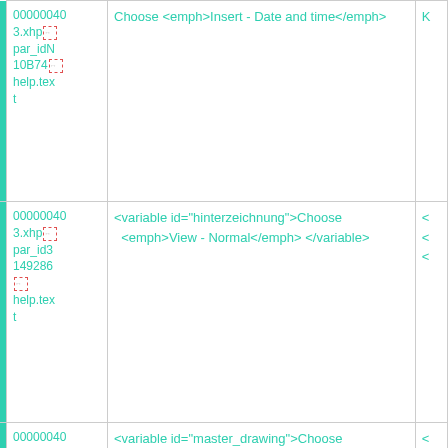| ID | Content | Extra |
| --- | --- | --- |
| 00000040 3.xhp [icon] par_idN 10B74 [icon] help.tex t | Choose <emph>Insert - Date and time</emph> | K |
| 00000040 3.xhp [icon] par_id3 149286 [icon] help.tex t | <variable id="hinterzeichnung">Choose <emph>View - Normal</emph> </variable> | < < < |
| 00000040 3.xhp [icon] par_id3 153480 [icon] | <variable id="master_drawing">Choose <emph>View - Master Slide</emph> </variable> | < < |